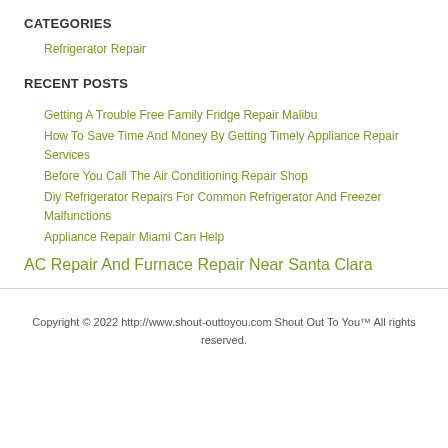CATEGORIES
Refrigerator Repair
RECENT POSTS
Getting A Trouble Free Family Fridge Repair Malibu
How To Save Time And Money By Getting Timely Appliance Repair Services
Before You Call The Air Conditioning Repair Shop
Diy Refrigerator Repairs For Common Refrigerator And Freezer Malfunctions
Appliance Repair Miami Can Help
AC Repair And Furnace Repair Near Santa Clara
Copyright © 2022 http://www.shout-outtoyou.com Shout Out To You™ All rights reserved.